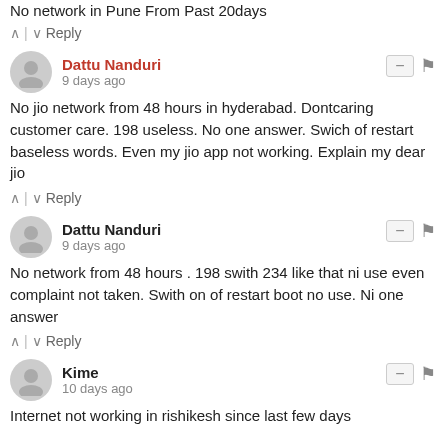No network in Pune From Past 20days
^ | v  Reply
Dattu Nanduri
9 days ago
No jio network from 48 hours in hyderabad. Dontcaring customer care. 198 useless. No one answer. Swich of restart baseless words. Even my jio app not working. Explain my dear jio
^ | v  Reply
Dattu Nanduri
9 days ago
No network from 48 hours . 198 swith 234 like that ni use even complaint not taken. Swith on of restart boot no use. Ni one answer
^ | v  Reply
Kime
10 days ago
Internet not working in rishikesh since last few days